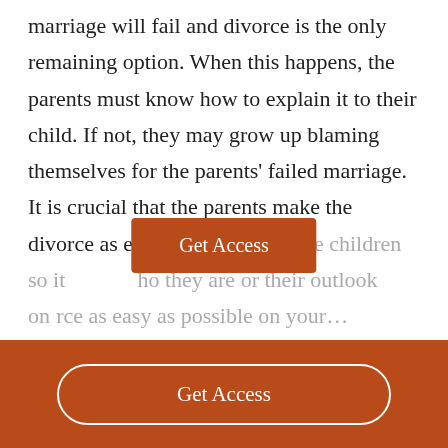marriage will fail and divorce is the only remaining option. When this happens, the parents must know how to explain it to their child. If not, they may grow up blaming themselves for the parents' failed marriage. It is crucial that the parents make the divorce as easy as possible on the children so it will not change who they are or their outlook on life. Make the divorce as easy as possible on your...
[Figure (other): Orange 'Get Access' button overlay on text content]
[Figure (other): Orange footer bar with white outlined 'Get Access' button]